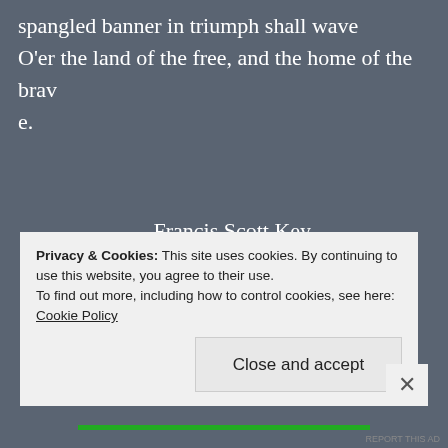spangled banner in triumph shall wave
O'er the land of the free, and the home of the brave.
– Francis Scott Key
Advertisements
[Figure (other): Dark advertisement box with a play button circle in the center]
Privacy & Cookies: This site uses cookies. By continuing to use this website, you agree to their use.
To find out more, including how to control cookies, see here: Cookie Policy
Close and accept